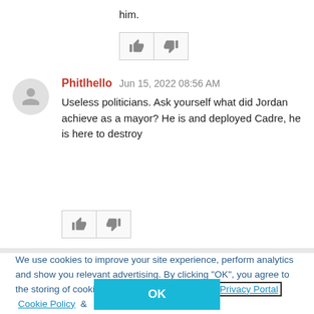him.
[Figure (other): Like and dislike vote buttons (thumbs up and thumbs down icons in bordered boxes)]
Phitlhello   Jun 15, 2022 08:56 AM
Useless politicians. Ask yourself what did Jordan achieve as a mayor? He is and deployed Cadre, he is here to destroy
[Figure (other): Like and dislike vote buttons (thumbs up and thumbs down icons in bordered boxes)]
We use cookies to improve your site experience, perform analytics and show you relevant advertising. By clicking "OK", you agree to the storing of cookies on your device. View our Privacy Portal  Cookie Policy &  Cookie FAQs
OK